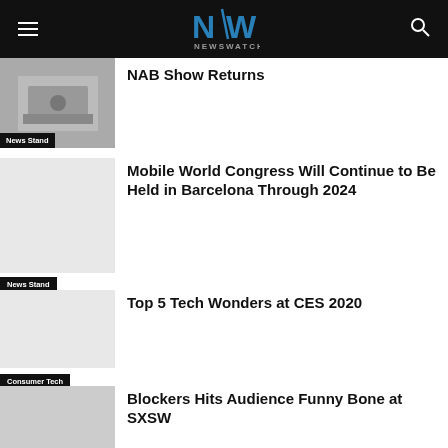NEWSWATCH
[Figure (screenshot): Thumbnail image for NAB Show article with News Stand badge]
NAB Show Returns
[Figure (photo): Blank thumbnail for Mobile World Congress article]
Mobile World Congress Will Continue to Be Held in Barcelona Through 2024
[Figure (photo): Blank thumbnail for Top 5 Tech Wonders article]
Top 5 Tech Wonders at CES 2020
[Figure (photo): Thumbnail for Blockers article with Trade Show Central badge]
Blockers Hits Audience Funny Bone at SXSW
Tech Innovations We're Seeing at SXSW